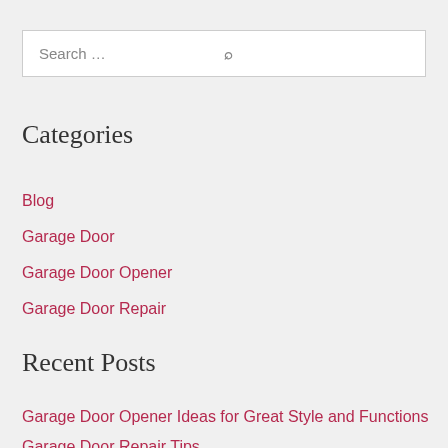[Figure (screenshot): Search box with placeholder text 'Search ...' and a search icon on the right]
Categories
Blog
Garage Door
Garage Door Opener
Garage Door Repair
Recent Posts
Garage Door Opener Ideas for Great Style and Functions
Garage Door Repair Tips